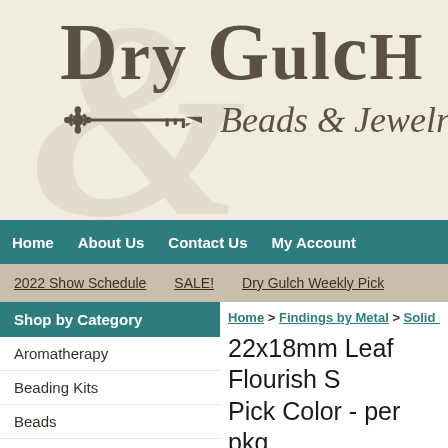[Figure (logo): Dry Gulch Beads & Jewelry logo with decorative key and vintage ampersand watermark on parchment background]
Home   About Us   Contact Us   My Account
2022 Show Schedule   SALE!   Dry Gulch Weekly Pick
Shop by Category
Home > Findings by Metal > Solid Brass >
Aromatherapy
Beading Kits
Beads
22x18mm Leaf Flourish S Pick Color - per pkg